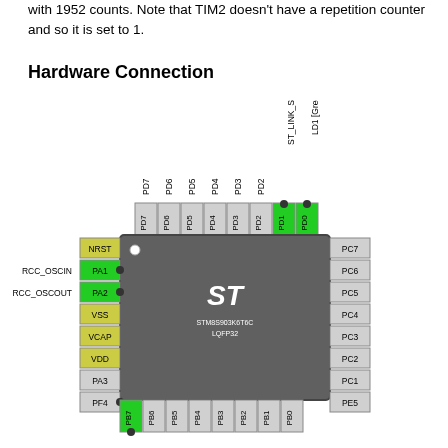with 1952 counts. Note that TIM2 doesn't have a repetition counter and so it is set to 1.
Hardware Connection
[Figure (engineering-diagram): STM8S903K6T6C LQFP32 microcontroller pinout diagram showing pin connections including NRST, PA1 (RCC_OSCIN), PA2 (RCC_OSCOUT), VSS, VCAP, VDD, PA3, PF4, PB7, PB6, PB5, PB4, PB3, PB2, PB1, PB0 on bottom/left, PD7, PD6, PD5, PD4, PD3, PD2, PD1 (ST_LINK_SWIM), PD0 (LD1 Green Led) on top, and PC7, PC6, PC5, PC4, PC3, PC2, PC1, PE5 on right side. PD1, PD0, PA1, PA2, PB7 are highlighted in green.]